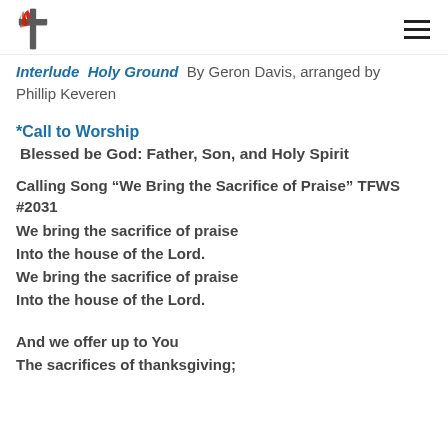UMC logo and navigation hamburger menu
Interlude  Holy Ground  By Geron Davis, arranged by Phillip Keveren
*Call to Worship
Blessed be God: Father, Son, and Holy Spirit
Calling Song “We Bring the Sacrifice of Praise” TFWS #2031
We bring the sacrifice of praise
Into the house of the Lord.
We bring the sacrifice of praise
Into the house of the Lord.
And we offer up to You
The sacrifices of thanksgiving;